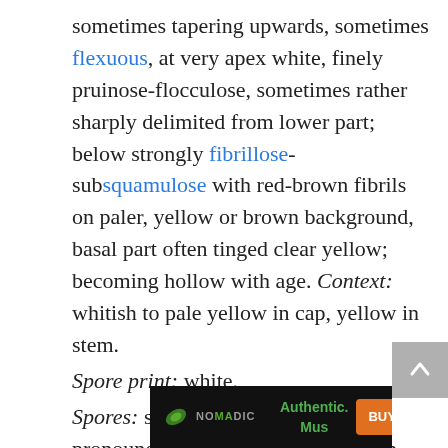sometimes tapering upwards, sometimes flexuous, at very apex white, finely pruinose-flocculose, sometimes rather sharply delimited from lower part; below strongly fibrillose-subsquamulose with red-brown fibrils on paler, yellow or brown background, basal part often tinged clear yellow; becoming hollow with age. Context: whitish to pale yellow in cap, yellow in stem. Spore print: white. Spores: subglobose to oblong with pronounced hilar appendage, smooth, nonamyloid, 5-6.5 x 3.5-5 μm. Odor: strongly farinaceous when cut. Taste: farinaceous or slightly bitter. Edib... Hab...
[Figure (other): Advertisement banner: Nomadic mushroom supplement ad with green logo, 'Authentic. Mus' text in green, supplement bottle image, and orange 'BUY NOW' button on dark background]